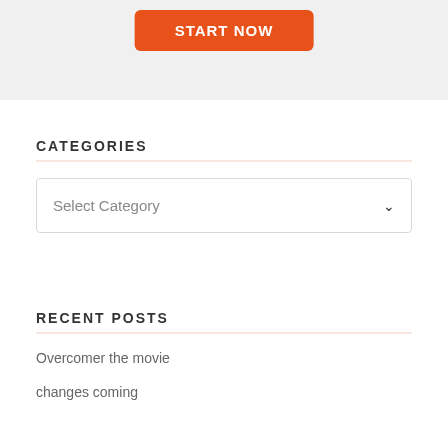[Figure (screenshot): Top portion of a webpage showing an orange 'START NOW' button on a light gray background image area]
CATEGORIES
Select Category
RECENT POSTS
Overcomer the movie
changes coming